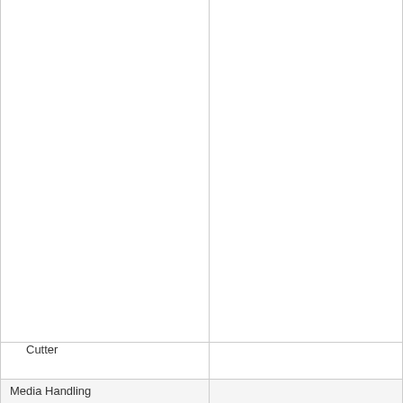| Property | Value |
| --- | --- |
| Cutter |  |
| Media Handling |  |
| Media Type |  |